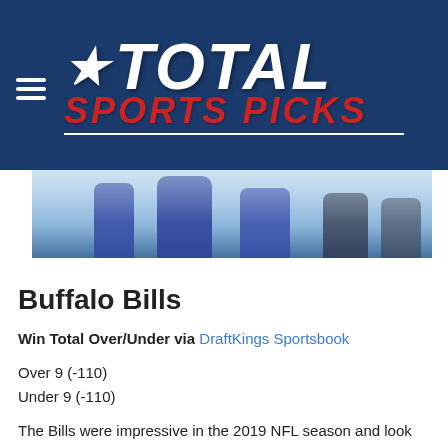Total Sports Picks
[Figure (photo): Partial view of football players on field, Buffalo Bills blue jerseys visible from the waist down]
Buffalo Bills
Win Total Over/Under via DraftKings Sportsbook
Over 9 (-110)
Under 9 (-110)
The Bills were impressive in the 2019 NFL season and look like the obvious candidate to take the AFC East mantle if the Patriots do indeed drop away. They finished the 2019 season with a 10-6 record before being bounced from the playoffs in the first